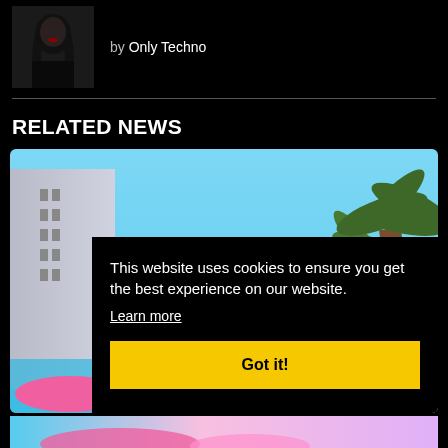[Figure (photo): Author photo: woman with dark hair against black background]
by Only Techno
RELATED NEWS
[Figure (photo): Outdoor resort/pool scene with building, palm trees, blue sky, and pink pool floaties]
This website uses cookies to ensure you get the best experience on our website.
Learn more
Got it!